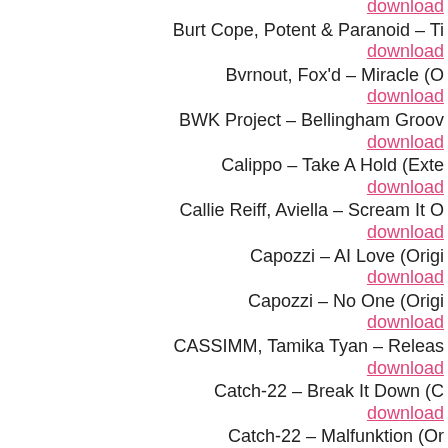download
Burt Cope, Potent & Paranoid – Ti... / download
Bvrnout, Fox'd – Miracle (O... / download
BWK Project – Bellingham Groov... / download
Calippo – Take A Hold (Exte... / download
Callie Reiff, Aviella – Scream It O... / download
Capozzi – AI Love (Origi... / download
Capozzi – No One (Origi... / download
CASSIMM, Tamika Tyan – Releas... / download
Catch-22 – Break It Down (C... / download
Catch-22 – Malfunktion (Or... / download
Charlie Hepworth – Held Down ... / download